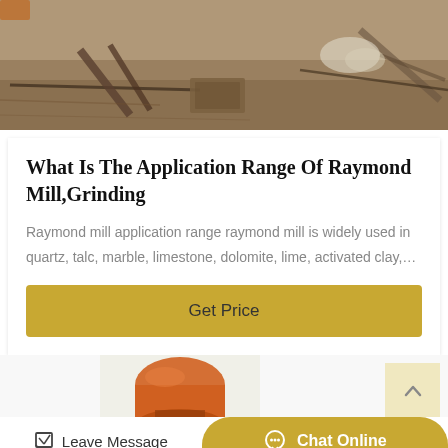[Figure (photo): Construction site ground with tools, cables, rubble and debris scattered on dirt/sand surface]
What Is The Application Range Of Raymond Mill,Grinding
Raymond mill application range raymond mill is widely used in quartz, talc, marble, limestone, dolomite, lime, activated clay,…
Get Price
[Figure (photo): Partial view of orange industrial pipe or tube component]
Leave Message   Chat Online